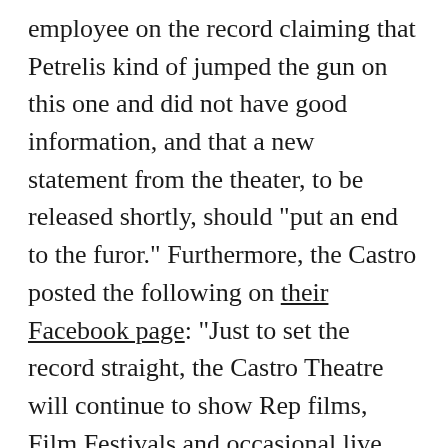employee on the record claiming that Petrelis kind of jumped the gun on this one and did not have good information, and that a new statement from the theater, to be released shortly, should "put an end to the furor." Furthermore, the Castro posted the following on their Facebook page: "Just to set the record straight, the Castro Theatre will continue to show Rep films, Film Festivals and occasional live performances. Any rumors out there are totally false."
Petrelis stands by his article, saying that his "source maintains the owner is headed in a live performance direction and stands by the